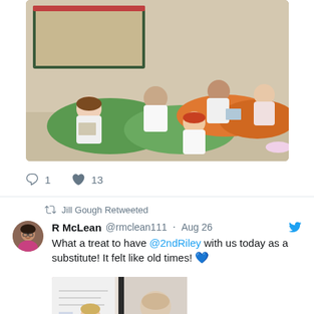[Figure (photo): Children lying on colorful bean bags in a school hallway reading books]
1   13
Jill Gough Retweeted
R McLean @rmclean111 · Aug 26
What a treat to have @2ndRiley with us today as a substitute! It felt like old times! 💙
[Figure (photo): Two side-by-side photos showing a woman in a pink top (left) and a blurred portrait (right)]